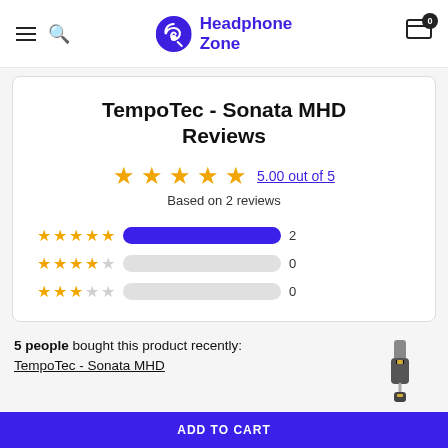Headphone Zone
TempoTec - Sonata MHD Reviews
5.00 out of 5 – Based on 2 reviews
[Figure (bar-chart): Rating breakdown]
5 people bought this product recently: TempoTec - Sonata MHD
[Figure (photo): TempoTec Sonata MHD product photo – a small USB DAC/amp dongle with cable]